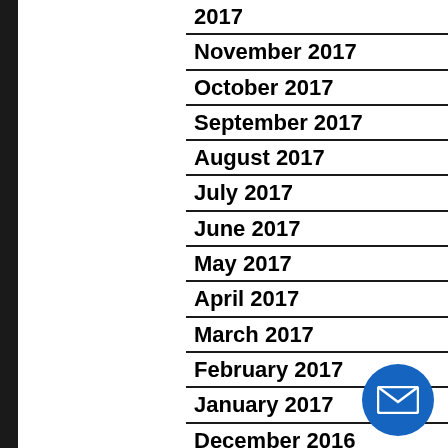🖨 | Back to index...
2017
November 2017
October 2017
September 2017
August 2017
July 2017
June 2017
May 2017
April 2017
March 2017
February 2017
January 2017
December 2016